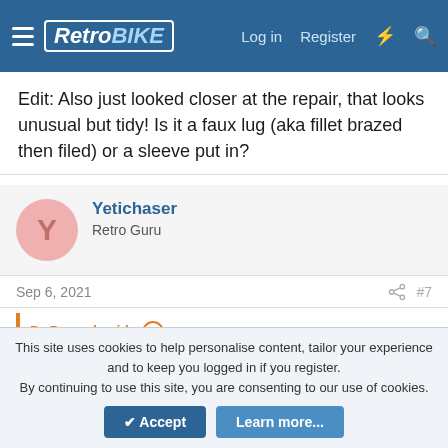RetroBIKE — Log in  Register
Edit: Also just looked closer at the repair, that looks unusual but tidy! Is it a faux lug (aka fillet brazed then filed) or a sleeve put in?
Yetichaser
Retro Guru
Sep 6, 2021  #7
Dr Dremel said: ↑
One can dream, right😉? It´s just you hear not often enough that such a gem will again be used for what it was build for.
This site uses cookies to help personalise content, tailor your experience and to keep you logged in if you register.
By continuing to use this site, you are consenting to our use of cookies.